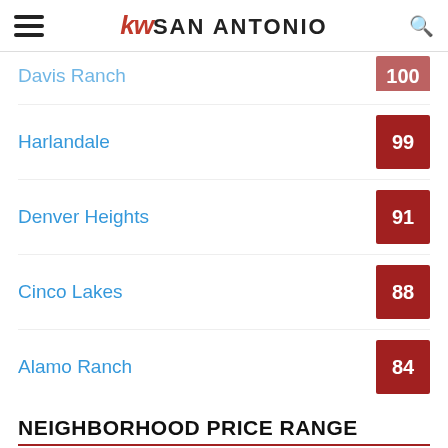kw SAN ANTONIO
Davis Ranch — 100
Harlandale — 99
Denver Heights — 91
Cinco Lakes — 88
Alamo Ranch — 84
NEIGHBORHOOD PRICE RANGE
$250000 - $350000 — 4
QUICK LINKS
Single Family Detached For Sale — 4